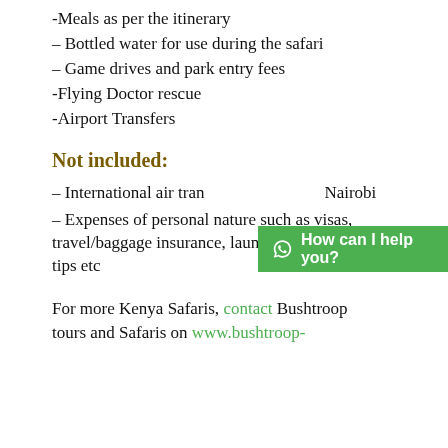-Meals as per the itinerary
– Bottled water for use during the safari
– Game drives and park entry fees
-Flying Doctor rescue
-Airport Transfers
Not included:
– International air travel to and from Nairobi
– Expenses of personal nature such as visas, travel/baggage insurance, laundry, beverages, tips etc
For more Kenya Safaris, contact Bushtroop tours and Safaris on www.bushtroop-safaris.com or email us for the best